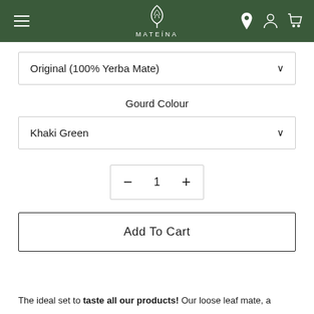MATEÍNA
Original (100% Yerba Mate)
Gourd Colour
Khaki Green
1
Add To Cart
The ideal set to taste all our products! Our loose leaf mate, a